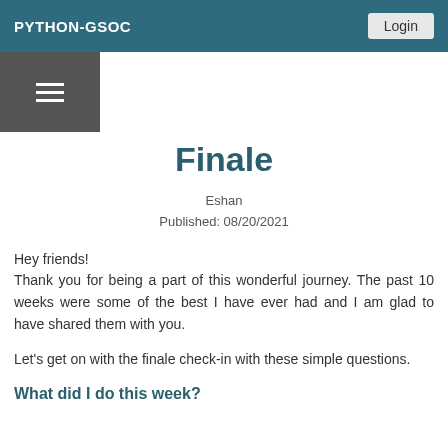PYTHON-GSOC
Finale
Eshan
Published: 08/20/2021
Hey friends!
Thank you for being a part of this wonderful journey. The past 10 weeks were some of the best I have ever had and I am glad to have shared them with you.
Let's get on with the finale check-in with these simple questions.
What did I do this week?